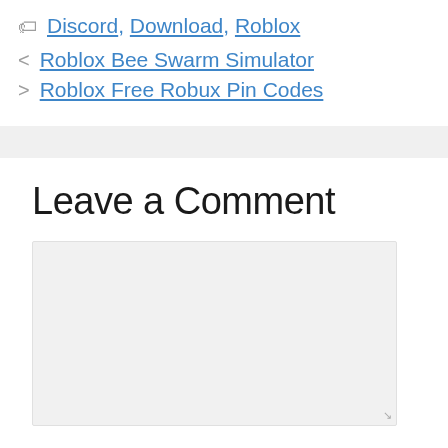🏷 Discord, Download, Roblox
< Roblox Bee Swarm Simulator
> Roblox Free Robux Pin Codes
Leave a Comment